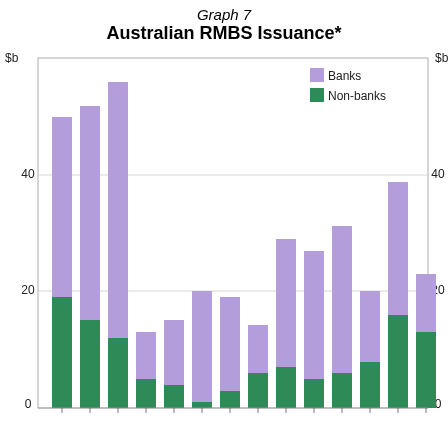Graph 7
Australian RMBS Issuance*
[Figure (stacked-bar-chart): Australian RMBS Issuance*]